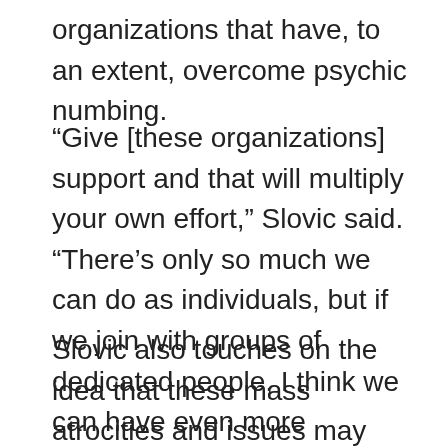organizations that have, to an extent, overcome psychic numbing.
“Give [these organizations] support and that will multiply your own effort,” Slovic said. “There’s only so much we can do as individuals, but if we join with groups of dedicated people, I think we can have even more impact.”
Slovic also touches on the idea that these mass atrocities and issues may seem impossible to conquer, by explaining a phenomenon called pseudoinefficacy, one